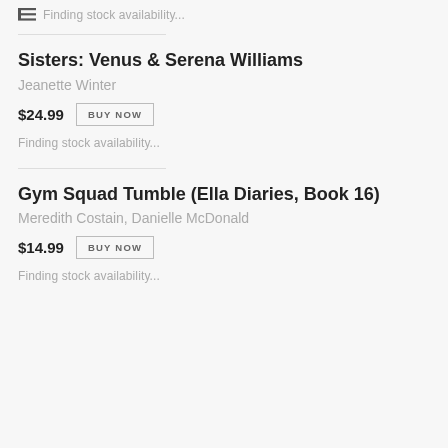Finding stock availability...
Sisters: Venus & Serena Williams
Jeanette Winter
$24.99  BUY NOW
Finding stock availability...
Gym Squad Tumble (Ella Diaries, Book 16)
Meredith Costain, Danielle McDonald
$14.99  BUY NOW
Finding stock availability...